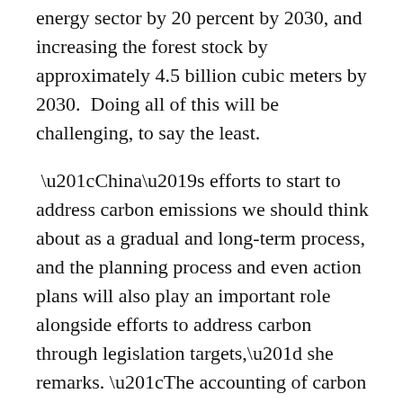energy sector by 20 percent by 2030, and increasing the forest stock by approximately 4.5 billion cubic meters by 2030.  Doing all of this will be challenging, to say the least.
“China’s efforts to start to address carbon emissions we should think about as a gradual and long-term process, and the planning process and even action plans will also play an important role alongside efforts to address carbon through legislation targets,” she remarks. “The accounting of carbon is just now starting to happen. It’s well developed for the power sector, but for the other sectors it’s still not developed, so we need to ask how to read the tea leaves, essentially, on how different instruments will come into play and have